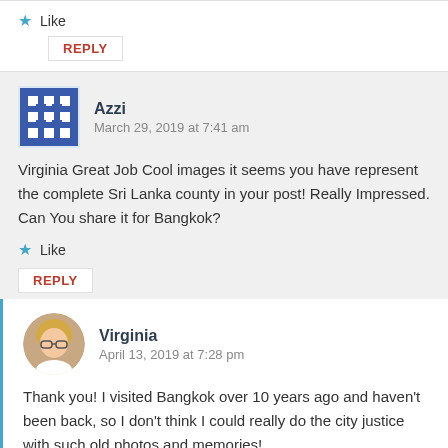Like
REPLY
Azzi
March 29, 2019 at 7:41 am
Virginia Great Job Cool images it seems you have represent the complete Sri Lanka county in your post! Really Impressed. Can You share it for Bangkok?
Like
REPLY
Virginia
April 13, 2019 at 7:28 pm
Thank you! I visited Bangkok over 10 years ago and haven't been back, so I don't think I could really do the city justice with such old photos and memories!